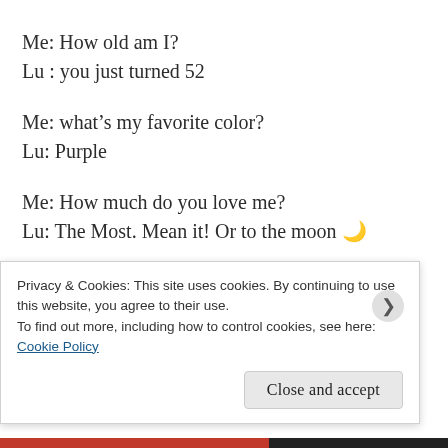Me: How old am I?
Lu : you just turned 52
Me: what’s my favorite color?
Lu: Purple
Me: How much do you love me?
Lu: The Most. Mean it! Or to the moon 🌙
Copy, paste and change my answers and see what your child...
Privacy & Cookies: This site uses cookies. By continuing to use this website, you agree to their use.
To find out more, including how to control cookies, see here:
Cookie Policy
Close and accept